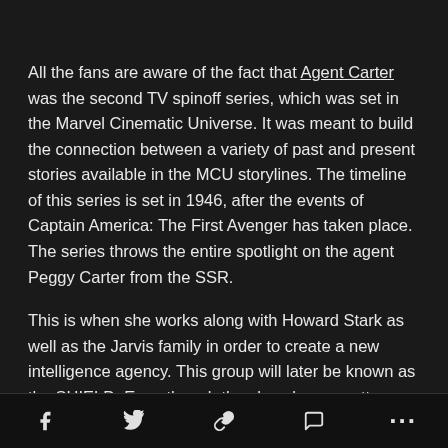All the fans are aware of the fact that Agent Carter was the second TV spinoff series, which was set in the Marvel Cinematic Universe. It was meant to build the connection between a variety of past and present stories available in the MCU storylines. The timeline of this series is set in 1946, after the events of Captain America: The First Avenger has taken place. The series throws the entire spotlight on the agent Peggy Carter from the SSR.
This is when she works along with Howard Stark as well as the Jarvis family in order to create a new intelligence agency. This group will later be known as the SHIELD. Even though the show has a pretty strong fanbase and
social share icons: facebook, twitter, link, comment, more